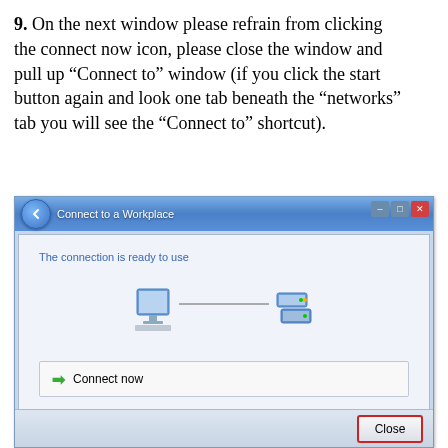9. On the next window please refrain from clicking the connect now icon, please close the window and pull up “Connect to” window (if you click the start button again and look one tab beneath the “networks” tab you will see the “Connect to” shortcut).
[Figure (screenshot): Windows Vista 'Connect to a Workplace' dialog showing 'The connection is ready to use' with computer and network icons connected by a line, a 'Connect now' option, and a Close button highlighted with a red border.]